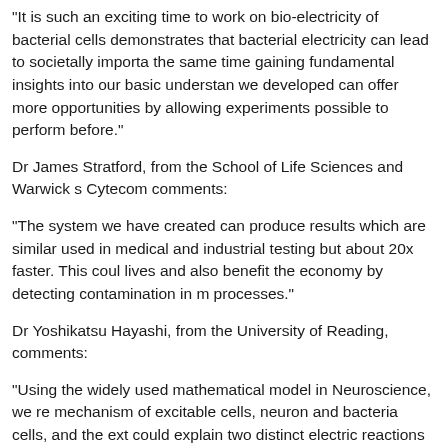"It is such an exciting time to work on bio-electricity of bacterial cells demonstrates that bacterial electricity can lead to societally importa the same time gaining fundamental insights into our basic understan we developed can offer more opportunities by allowing experiments possible to perform before."
Dr James Stratford, from the School of Life Sciences and Warwick s Cytecom comments:
"The system we have created can produce results which are similar used in medical and industrial testing but about 20x faster. This coul lives and also benefit the economy by detecting contamination in m processes."
Dr Yoshikatsu Hayashi, from the University of Reading, comments:
"Using the widely used mathematical model in Neuroscience, we re mechanism of excitable cells, neuron and bacteria cells, and the ext could explain two distinct electric reactions of healthy and unhealthy Surprisingly, a single parameter representing the degree of non-equ